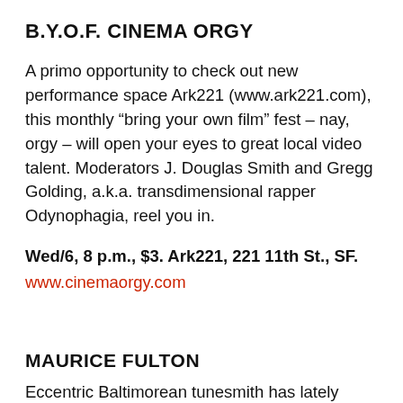B.Y.O.F. CINEMA ORGY
A primo opportunity to check out new performance space Ark221 (www.ark221.com), this monthly “bring your own film” fest – nay, orgy – will open your eyes to great local video talent. Moderators J. Douglas Smith and Gregg Golding, a.k.a. transdimensional rapper Odynophagia, reel you in.
Wed/6, 8 p.m., $3. Ark221, 221 11th St., SF.
www.cinemaorgy.com
MAURICE FULTON
Eccentric Baltimorean tunesmith has lately